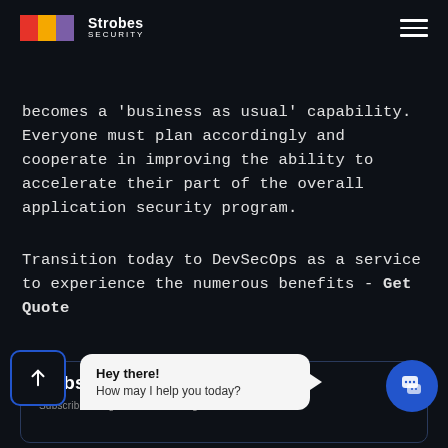Strobes SECURITY
becomes a 'business as usual' capability. Everyone must plan accordingly and cooperate in improving the ability to accelerate their part of the overall application security program.
Transition today to DevSecOps as a service to experience the numerous benefits - Get Quote
Subscribe and get actionable insights delivered